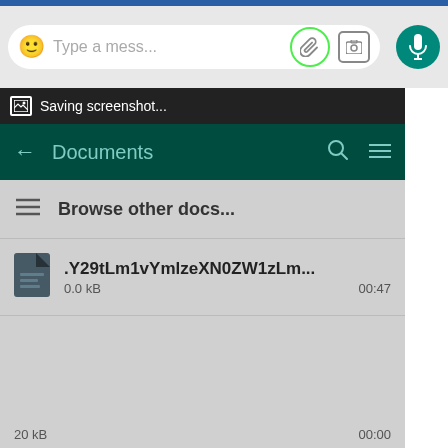[Figure (screenshot): WhatsApp or Android messaging app screenshot showing: chat input bar with emoji, text placeholder 'Type a mess...', paperclip/attach icon circled in green, camera icon, microphone button; a 'Saving screenshot...' notification bar; Documents file picker with back arrow, search and menu icons; a file list with 'Browse other docs...' entry and a file '.Y29tLm1vYmlzeXN0ZW1zLm...' showing 0.0 kB and 00:47; a dialog box with 'Send "demo.zip" to [blurred] [blurred]' and CANCEL / SEND buttons.]